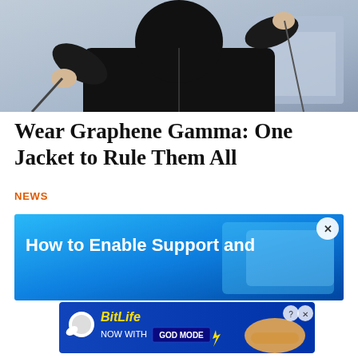[Figure (photo): Person wearing a black jacket holding ski poles or similar equipment, against a light blue-grey background]
Wear Graphene Gamma: One Jacket to Rule Them All
NEWS
[Figure (screenshot): Blue advertisement banner with text 'How to Enable Support and' with a close X button]
[Figure (screenshot): BitLife advertisement - NOW WITH GOD MODE, showing animated hand pointing finger icon]